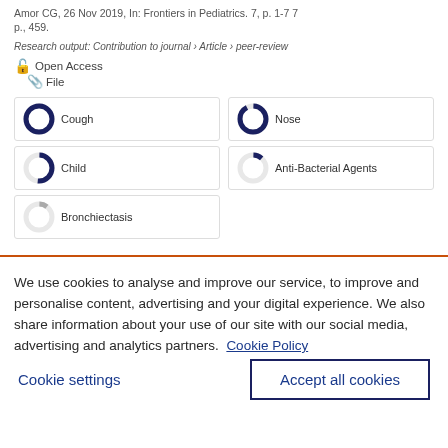Amor CG, 26 Nov 2019, In: Frontiers in Pediatrics. 7, p. 1-7 7 p., 459.
Research output: Contribution to journal › Article › peer-review
Open Access  File
Cough | Nose | Child | Anti-Bacterial Agents | Bronchiectasis
We use cookies to analyse and improve our service, to improve and personalise content, advertising and your digital experience. We also share information about your use of our site with our social media, advertising and analytics partners.  Cookie Policy
Cookie settings
Accept all cookies